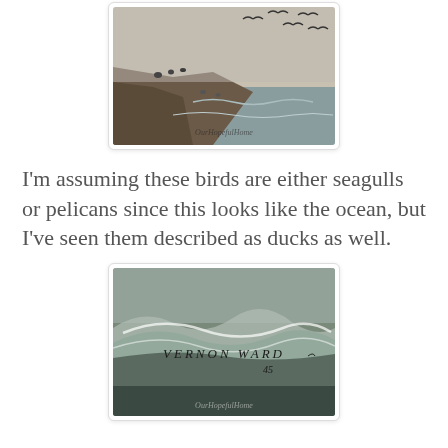[Figure (photo): A close-up photograph of a painting showing seabirds (seagulls or pelicans) on a rocky shoreline with the ocean in the background. Some birds are flying in the upper portion, others are perched on rocks. A watermark reads 'OurHopefulHome' in the lower right.]
I'm assuming these birds are either seagulls or pelicans since this looks like the ocean, but I've seen them described as ducks as well.
[Figure (photo): A close-up photograph of the lower portion of the same painting showing crashing ocean waves and a handwritten signature reading 'VERNON WARD' with what appears to be '45' (possibly a date). A watermark reads 'OurHopefulHome' in the lower right.]